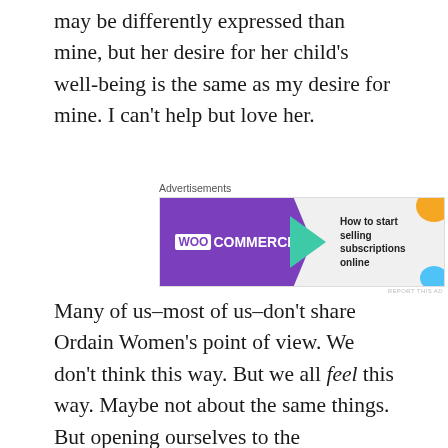may be differently expressed than mine, but her desire for her child's well-being is the same as my desire for mine. I can't help but love her.
[Figure (other): WooCommerce advertisement banner: purple background with WooCommerce logo and text 'How to start selling subscriptions online']
Many of us–most of us–don't share Ordain Women's point of view. We don't think this way. But we all feel this way. Maybe not about the same things. But opening ourselves to the perspective of others–following their emotional gaze as it were–is what will align our hearts and allow us to love in the way God promises us will lead to joy.